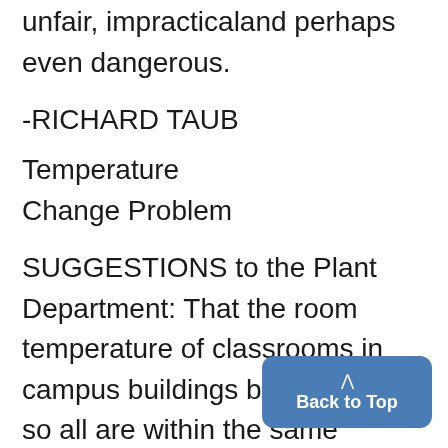unfair, impracticaland perhaps even dangerous.
-RICHARD TAUB
Temperature Change Problem
SUGGESTIONS to the Plant Department: That the room temperature of classrooms in campus buildings be regulated so all are within the same approximate range. According to a somewhat unofficial survey, it was found that there is a temperature drop of at least ten degrees when en Haven